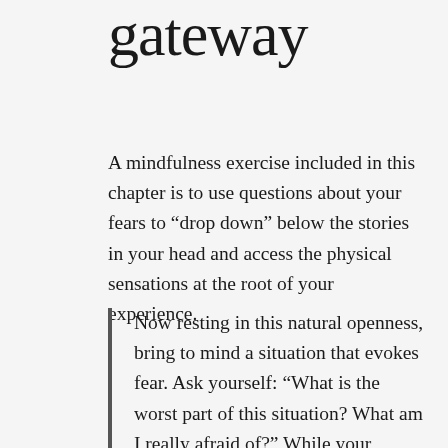gateway
A mindfulness exercise included in this chapter is to use questions about your fears to “drop down” below the stories in your head and access the physical sensations at the root of your experience.
Now resting in this natural openness, bring to mind a situation that evokes fear. Ask yourself: “What is the worst part of this situation? What am I really afraid of?” While your inquiry may arouse a story, if you stay alert to the sensations that arise in your body, the story becomes a